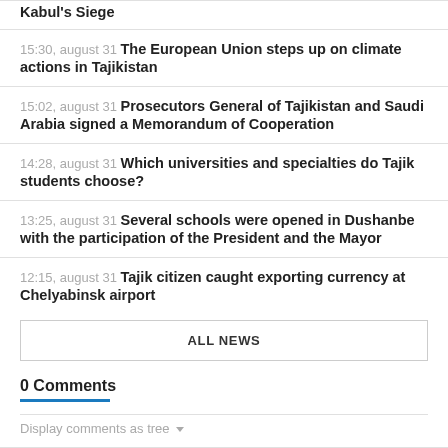Kabul's Siege
15:30, august 31 The European Union steps up on climate actions in Tajikistan
15:02, august 31 Prosecutors General of Tajikistan and Saudi Arabia signed a Memorandum of Cooperation
14:28, august 31 Which universities and specialties do Tajik students choose?
13:25, august 31 Several schools were opened in Dushanbe with the participation of the President and the Mayor
12:15, august 31 Tajik citizen caught exporting currency at Chelyabinsk airport
ALL NEWS
0 Comments
Display comments as tree